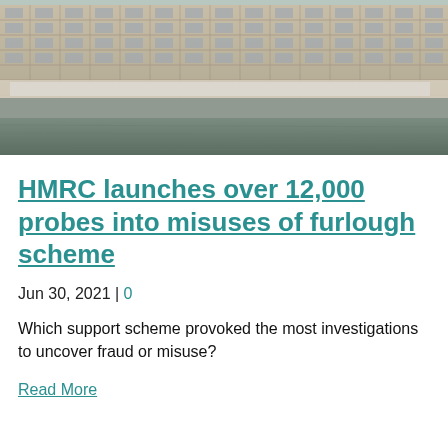[Figure (photo): Photograph of a large stone government/parliament building facade with ornate windows, viewed from across the Thames river. The building shows classical architecture with repeated window patterns.]
HMRC launches over 12,000 probes into misuses of furlough scheme
Jun 30, 2021 | 0
Which support scheme provoked the most investigations to uncover fraud or misuse?
Read More